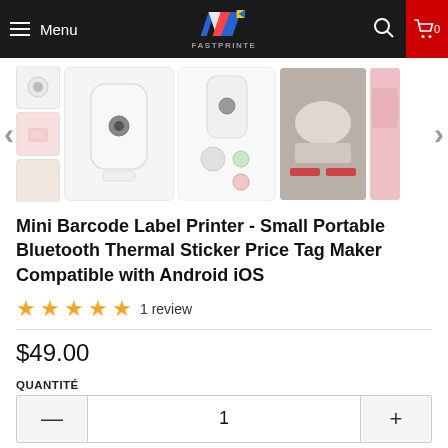Menu | FASTPRINTE | Cart 0
[Figure (photo): Product image carousel showing mini barcode label printer from multiple angles, with navigation arrows on left and right]
Mini Barcode Label Printer - Small Portable Bluetooth Thermal Sticker Price Tag Maker Compatible with Android iOS
★★★★★ 1 review
$49.00
QUANTITÉ
— 1 +